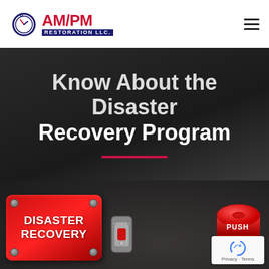[Figure (logo): AM/PM Restoration LLC logo — clock icon on left, bold red AM/PM text, blue RESTORATION LLC. banner below]
Know About the Disaster Recovery Program
[Figure (photo): Dark background with red disaster recovery button panel on the left showing 'DISASTER RECOVERY' text, and a large red PUSH button on the right. A reCAPTCHA badge is visible in the bottom-right corner.]